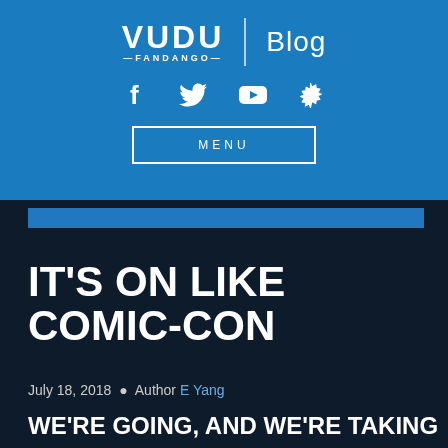VUDU FANDANGO | Blog
[Figure (logo): VUDU Fandango logo with social media icons (Facebook, Twitter, YouTube, Settings) and a MENU button on blue background]
IT'S ON LIKE COMIC-CON
July 18, 2018 • Author E Yang
WE'RE GOING, AND WE'RE TAKING